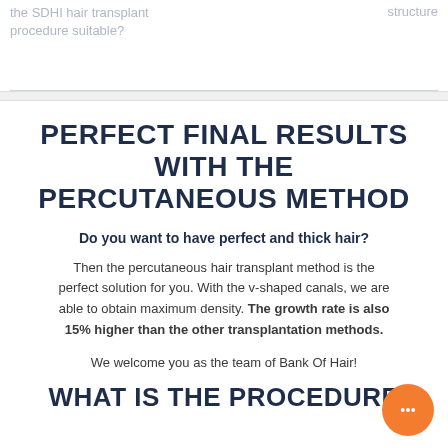the SDHI hair transplant procedure suitable?
structure
PERFECT FINAL RESULTS WITH THE PERCUTANEOUS METHOD
Do you want to have perfect and thick hair?
Then the percutaneous hair transplant method is the perfect solution for you. With the v-shaped canals, we are able to obtain maximum density. The growth rate is also 15% higher than the other transplantation methods.
We welcome you as the team of Bank Of Hair!
WHAT IS THE PROCEDURE